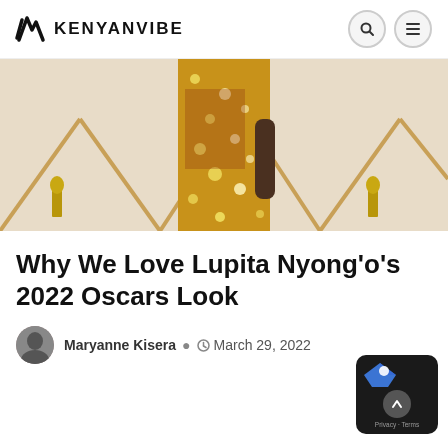KENYANVIBE
[Figure (photo): Person wearing a gold sequined outfit at the Oscars red carpet, with gold Oscar statue decorations in the background]
Why We Love Lupita Nyong'o's 2022 Oscars Look
Maryanne Kisera  March 29, 2022